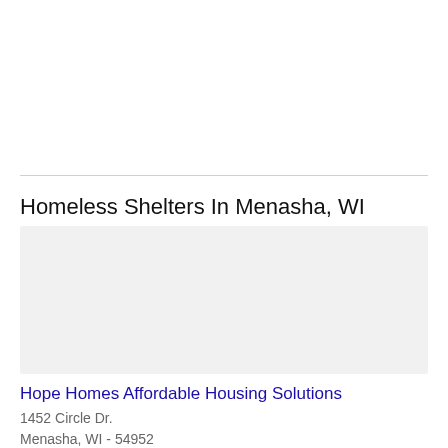Homeless Shelters In Menasha, WI
[Figure (map): Map area placeholder showing homeless shelters in Menasha, WI]
Hope Homes Affordable Housing Solutions
1452 Circle Dr.
Menasha, WI - 54952